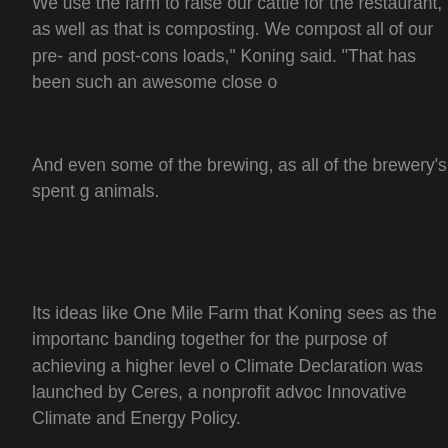We use the farm to raise our cattle for the restaurant, as well as that is composting. We compost all of our pre- and post-cons loads," Koning said. "That has been such an awesome close o
And even some of the brewing, as all of the brewery's spent g animals.
Its ideas like One Mile Farm that Koning sees as the importanc banding together for the purpose of achieving a higher level o Climate Declaration was launched by Ceres, a nonprofit advoc Innovative Climate and Energy Policy.
0 Comments